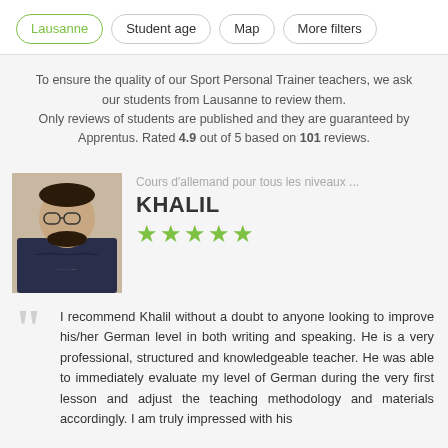Lausanne
Student age
Map
More filters
To ensure the quality of our Sport Personal Trainer teachers, we ask our students from Lausanne to review them. Only reviews of students are published and they are guaranteed by Apprentus. Rated 4.9 out of 5 based on 101 reviews.
[Figure (photo): Profile photo of Khalil, a man wearing a dark Nike t-shirt with arms crossed]
Cours d'allemand pour tous les niveaux ...
KHALIL
★★★★★ (5 stars)
I recommend Khalil without a doubt to anyone looking to improve his/her German level in both writing and speaking. He is a very professional, structured and knowledgeable teacher. He was able to immediately evaluate my level of German during the very first lesson and adjust the teaching methodology and materials accordingly. I am truly impressed with his